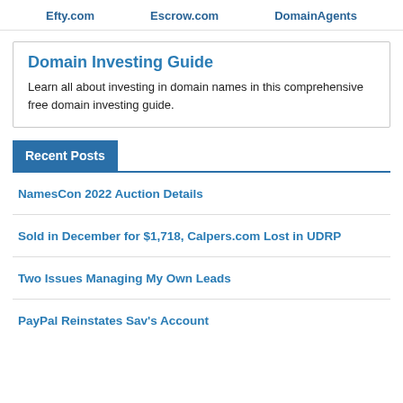Efty.com   Escrow.com   DomainAgents
Domain Investing Guide
Learn all about investing in domain names in this comprehensive free domain investing guide.
Recent Posts
NamesCon 2022 Auction Details
Sold in December for $1,718, Calpers.com Lost in UDRP
Two Issues Managing My Own Leads
PayPal Reinstates Sav's Account